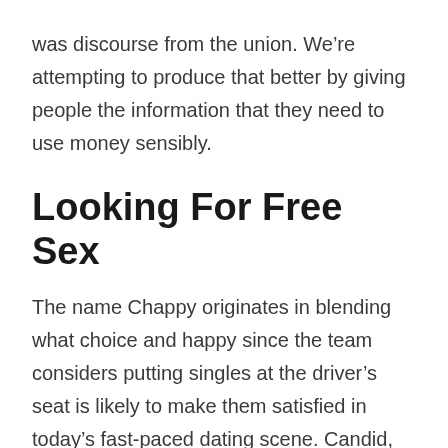was discourse from the union. We're attempting to produce that better by giving people the information that they need to use money sensibly.
Looking For Free Sex
The name Chappy originates in blending what choice and happy since the team considers putting singles at the driver's seat is likely to make them satisfied in today's fast-paced dating scene. Candid, open and honest minded, they share their experiences and insight into that which doesn't operate, and what does. If you wish to show some leg, then keep the girls just a bit more concealed. Icebreak for Couples (Available via App Store). Alikewise matches users from their own